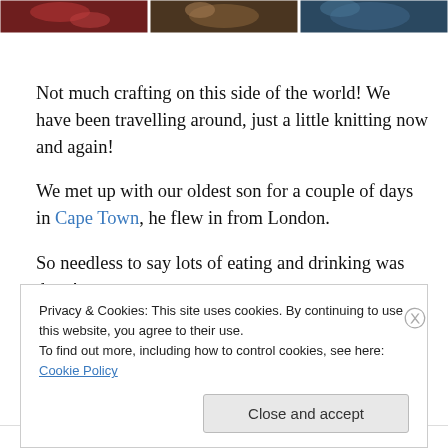[Figure (photo): Three partial photos at top of page: left has red/dark tones, center has brown/warm tones, right has blue/teal tones]
Not much crafting on this side of the world! We have been travelling around, just a little knitting now and again!
We met up with our oldest son for a couple of days in Cape Town, he flew in from London.
So needless to say lots of eating and drinking was done!
Privacy & Cookies: This site uses cookies. By continuing to use this website, you agree to their use.
To find out more, including how to control cookies, see here: Cookie Policy
Close and accept